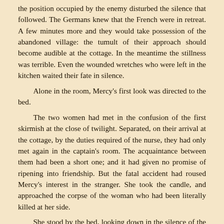the position occupied by the enemy disturbed the silence that followed. The Germans knew that the French were in retreat. A few minutes more and they would take possession of the abandoned village: the tumult of their approach should become audible at the cottage. In the meantime the stillness was terrible. Even the wounded wretches who were left in the kitchen waited their fate in silence.

Alone in the room, Mercy's first look was directed to the bed.

The two women had met in the confusion of the first skirmish at the close of twilight. Separated, on their arrival at the cottage, by the duties required of the nurse, they had only met again in the captain's room. The acquaintance between them had been a short one; and it had given no promise of ripening into friendship. But the fatal accident had roused Mercy's interest in the stranger. She took the candle, and approached the corpse of the woman who had been literally killed at her side.

She stood by the bed, looking down in the silence of the night at the stillness of the dead face.

It was a striking face—once seen (in life or in death) not to be forgotten afterward. The forehead was unusually low and broad; the eyes unusually far apart; the mouth and chin remarkably small. With tender hands Mercy smoothed the